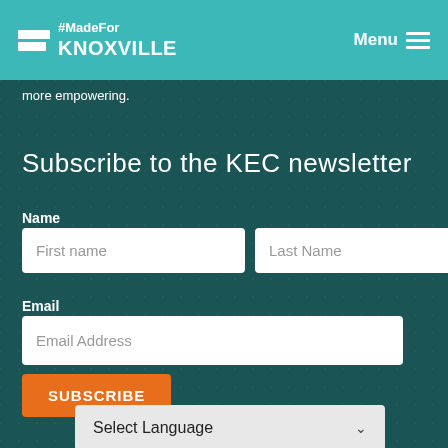#MadeFor KNOXVILLE — Menu
more empowering.
Subscribe to the KEC newsletter
Name
First name
Last Name
Email
Email Address
SUBSCRIBE
Select Language